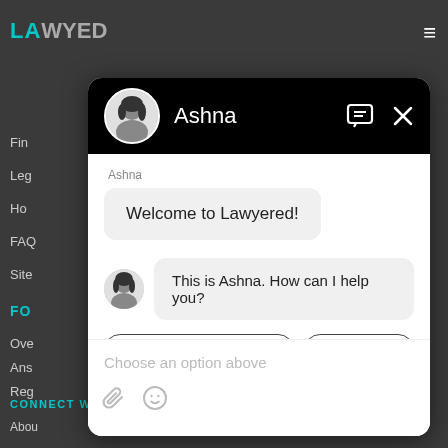[Figure (screenshot): Screenshot of Lawyered website with a chat widget open. The chat widget shows a bot named Ashna with two messages: 'Welcome to Lawyered!' and 'This is Ashna. How can I help you?'. The background shows a dark sidebar navigation with items like Find, Legal, How, FAQ, Site, FORUM, Overview, Answers, Register, Law, Law, Client, Our. Bottom shows CONNECT WITH US and About us. Top right has hamburger menu.]